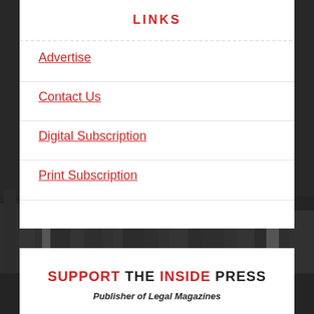LINKS
Advertise
Contact Us
Digital Subscription
Print Subscription
[Figure (photo): Dark grayscale aerial photo of city skyline/buildings in background]
SUPPORT THE INSIDE PRESS
Publisher of Legal Magazines